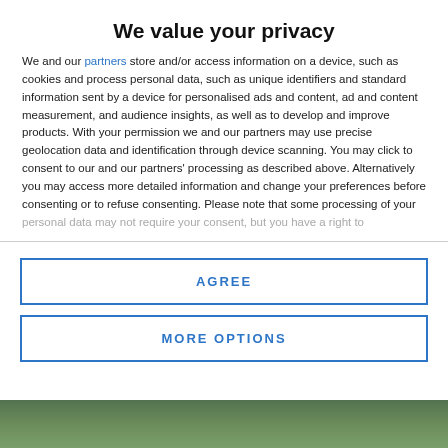We value your privacy
We and our partners store and/or access information on a device, such as cookies and process personal data, such as unique identifiers and standard information sent by a device for personalised ads and content, ad and content measurement, and audience insights, as well as to develop and improve products. With your permission we and our partners may use precise geolocation data and identification through device scanning. You may click to consent to our and our partners' processing as described above. Alternatively you may access more detailed information and change your preferences before consenting or to refuse consenting. Please note that some processing of your personal data may not require your consent, but you have a right to
AGREE
MORE OPTIONS
[Figure (photo): Green foliage background photo at the bottom of the page]